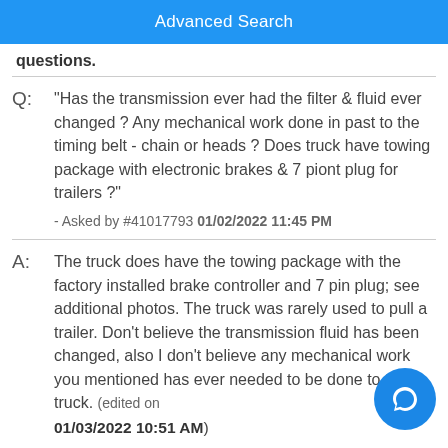Advanced Search
questions.
Q: "Has the transmission ever had the filter & fluid ever changed ? Any mechanical work done in past to the timing belt - chain or heads ? Does truck have towing package with electronic brakes & 7 piont plug for trailers ?" - Asked by #41017793 01/02/2022 11:45 PM
A: The truck does have the towing package with the factory installed brake controller and 7 pin plug; see additional photos. The truck was rarely used to pull a trailer. Don't believe the transmission fluid has been changed, also I don't believe any mechanical work you mentioned has ever needed to be done to the truck. (edited on 01/03/2022 10:51 AM)